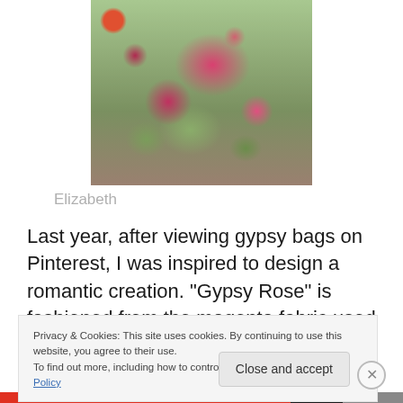[Figure (photo): A floral handbag with magenta and pink flowers on a green background, partially visible at the top of the page]
Elizabeth
Last year, after viewing gypsy bags on Pinterest, I was inspired to design a romantic creation.  “Gypsy Rose” is fashioned from the magenta fabric used on Confetti Candy, a coordinating pink faux ostrich, and a leather flower from Michael Levine.  It features a multicolor loop fringe from Cowgirls and Lace, a pocket of antique cut
Privacy & Cookies: This site uses cookies. By continuing to use this website, you agree to their use.
To find out more, including how to control cookies, see here: Cookie Policy
Close and accept